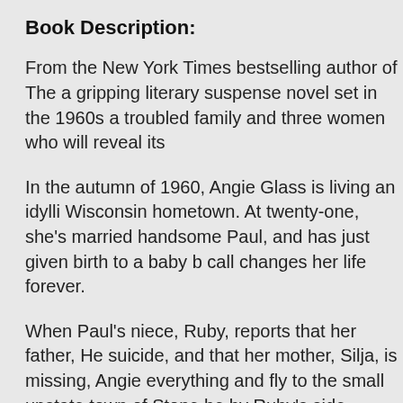Book Description:
From the New York Times bestselling author of The a gripping literary suspense novel set in the 1960s a troubled family and three women who will reveal its
In the autumn of 1960, Angie Glass is living an idylli Wisconsin hometown. At twenty-one, she's married handsome Paul, and has just given birth to a baby b call changes her life forever.
When Paul's niece, Ruby, reports that her father, He suicide, and that her mother, Silja, is missing, Angie everything and fly to the small upstate town of Stone be by Ruby's side.
Angie thinks they're coming to the rescue of Paul's g niece, but Ruby is a composed and enigmatic sever resists Angie's attempts to nurture her. As Angie lea complicated Glass family, staying in Henry and Silja